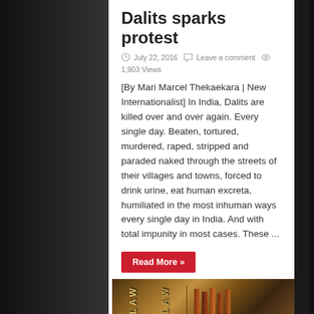Dalits sparks protest
July 22, 2016  Leave a comment  1,903 Views
[By Mari Marcel Thekaekara | New Internationalist] In India, Dalits are killed over and over again. Every single day. Beaten, tortured, murdered, raped, stripped and paraded naked through the streets of their villages and towns, forced to drink urine, eat human excreta, humiliated in the most inhuman ways every single day in India. And with total impunity in most cases. These ...
Read More »
[Figure (screenshot): Social media sharing buttons: Tweet (Twitter), Like 0 (Facebook), Share (LinkedIn), Save (Pinterest)]
[Figure (photo): Books with 'LAW' written on spines and a gavel, suggesting a legal theme]